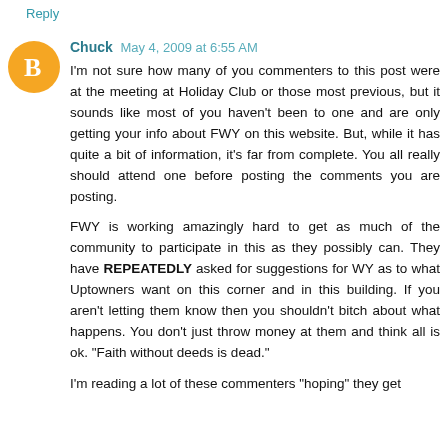Reply
Chuck May 4, 2009 at 6:55 AM
I'm not sure how many of you commenters to this post were at the meeting at Holiday Club or those most previous, but it sounds like most of you haven't been to one and are only getting your info about FWY on this website. But, while it has quite a bit of information, it's far from complete. You all really should attend one before posting the comments you are posting.

FWY is working amazingly hard to get as much of the community to participate in this as they possibly can. They have REPEATEDLY asked for suggestions for WY as to what Uptowners want on this corner and in this building. If you aren't letting them know then you shouldn't bitch about what happens. You don't just throw money at them and think all is ok. "Faith without deeds is dead."

I'm reading a lot of these commenters "hoping" they get